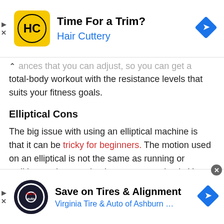[Figure (other): Top advertisement banner for Hair Cuttery: logo (HC on yellow square), title 'Time For a Trim?', brand name 'Hair Cuttery' in blue, navigation arrow icon on right]
ances that you can adjust, so you can get a total-body workout with the resistance levels that suits your fitness goals.
Elliptical Cons
The big issue with using an elliptical machine is that it can be tricky for beginners. The motion used on an elliptical is not the same as running or walking, so it may take time to get used to it. You can lessen the
[Figure (other): Bottom advertisement banner for Virginia Tire & Auto: circular logo, title 'Save on Tires & Alignment', brand name 'Virginia Tire & Auto of Ashburn Fa...' in blue, close button, navigation arrow icon on right]